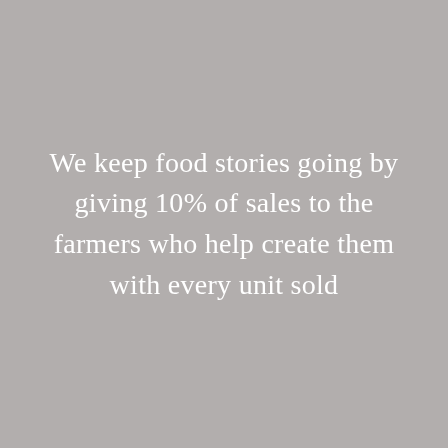We keep food stories going by giving 10% of sales to the farmers who help create them with every unit sold